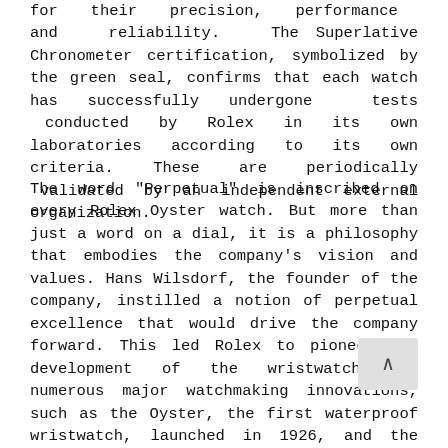for their precision, performance and reliability. The Superlative Chronometer certification, symbolized by the green seal, confirms that each watch has successfully undergone tests conducted by Rolex in its own laboratories according to its own criteria. These are periodically validated by an independent external organization.
The word “Perpetual” is inscribed on every Rolex Oyster watch. But more than just a word on a dial, it is a philosophy that embodies the company’s vision and values. Hans Wilsdorf, the founder of the company, instilled a notion of perpetual excellence that would drive the company forward. This led Rolex to pioneer the development of the wristwatch and numerous major watchmaking innovations, such as the Oyster, the first waterproof wristwatch, launched in 1926, and the Perpetual rotor self-winding mechanism, invented in 1931. In the course of its history, Rolex has registered over 400 patents. At its four sites in Switzerland, the brand designs, develops, and produces the majority of its watch